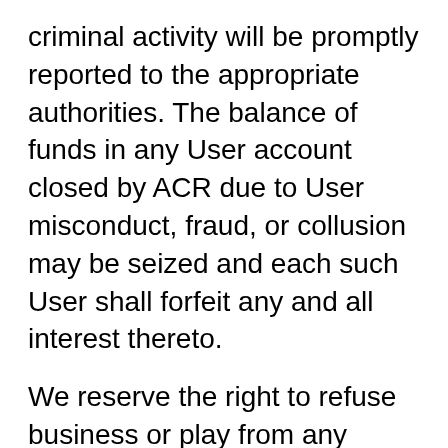criminal activity will be promptly reported to the appropriate authorities. The balance of funds in any User account closed by ACR due to User misconduct, fraud, or collusion may be seized and each such User shall forfeit any and all interest thereto.
We reserve the right to refuse business or play from any player. The decision to institute a ban or refuse a player is at the sole discretion of the network and not subject to appeal.
11. AMENDMENT: ACR reserves the right to change this Agreement at any time with or without notice and you will be bound by such amended Agreement upon its being posted at the Site. Therefore, we encourage you to visit the Site regularly